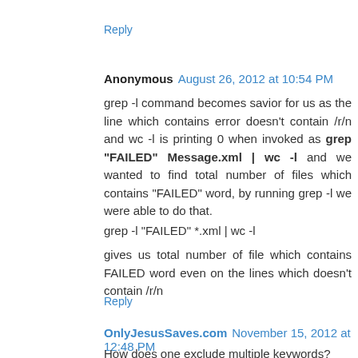Reply
Anonymous  August 26, 2012 at 10:54 PM
grep -l command becomes savior for us as the line which contains error doesn't contain /r/n and wc -l is printing 0 when invoked as grep "FAILED" Message.xml | wc -l and we wanted to find total number of files which contains "FAILED" word, by running grep -l we were able to do that.
grep -l "FAILED" *.xml | wc -l
gives us total number of file which contains FAILED word even on the lines which doesn't contain /r/n
Reply
OnlyJesusSaves.com  November 15, 2012 at 12:48 PM
How does one exclude multiple keywords?